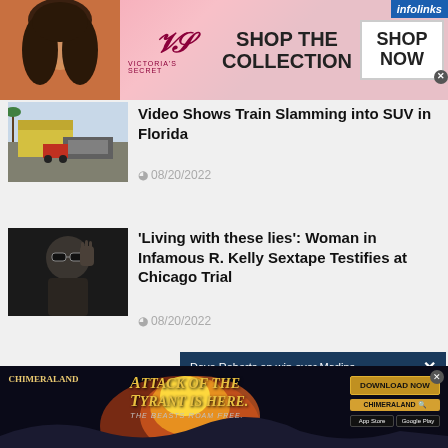[Figure (photo): Victoria's Secret advertisement banner with model, VS logo, 'SHOP THE COLLECTION' text and SHOP NOW button]
[Figure (photo): Thumbnail of train slamming into SUV in Florida]
Video Shows Train Slamming into SUV in Florida
08/20/2022
[Figure (photo): Thumbnail of R. Kelly]
'Living with these lies': Woman in Infamous R. Kelly Sextape Testifies at Chicago Trial
08/20/2022
Dave Roberts on win over Marlins
[Figure (photo): Partial thumbnail for third news story about Wiretap]
The Mothe... Wiretap In...
[Figure (screenshot): LA Dodgers popup overlay with team logos]
[Figure (screenshot): Chimeraland game advertisement - Attack of the Tyrant Is Here. The Beasts Roam Free. Download Now button.]